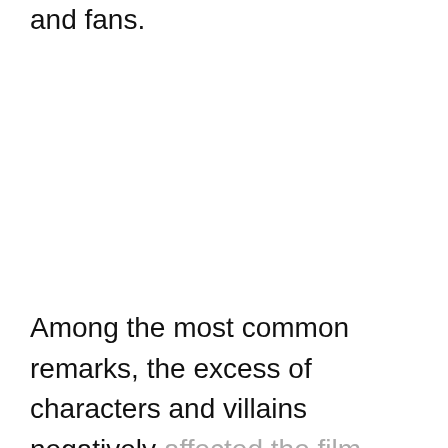and fans.
Among the most common remarks, the excess of characters and villains negatively affected the film. Venom was also a problem in the project, and the reason for